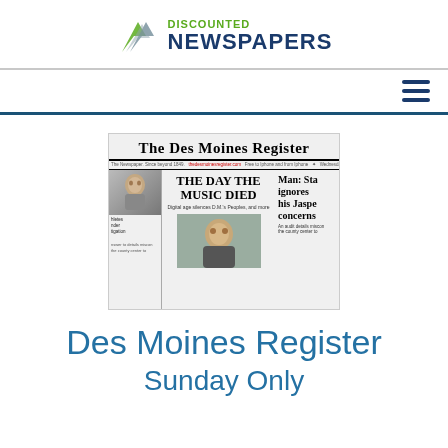[Figure (logo): Discounted Newspapers logo with arrow/chevron icon in gray-green, text 'DISCOUNTED' in green and 'NEWSPAPERS' in dark blue]
[Figure (screenshot): Front page of The Des Moines Register newspaper showing headlines 'THE DAY THE MUSIC DIED' and 'Man: State ignores his Jasper concerns', with a photo of a man and face portrait]
Des Moines Register
Sunday Only